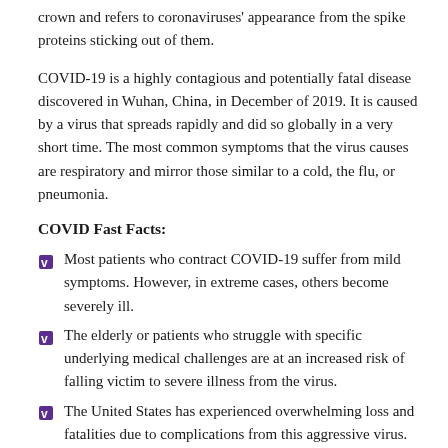crown and refers to coronaviruses' appearance from the spike proteins sticking out of them.
COVID-19 is a highly contagious and potentially fatal disease discovered in Wuhan, China, in December of 2019. It is caused by a virus that spreads rapidly and did so globally in a very short time. The most common symptoms that the virus causes are respiratory and mirror those similar to a cold, the flu, or pneumonia.
COVID Fast Facts:
Most patients who contract COVID-19 suffer from mild symptoms. However, in extreme cases, others become severely ill.
The elderly or patients who struggle with specific underlying medical challenges are at an increased risk of falling victim to severe illness from the virus.
The United States has experienced overwhelming loss and fatalities due to complications from this aggressive virus.